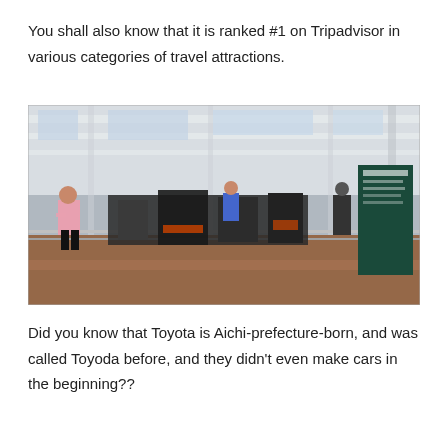You shall also know that it is ranked #1 on Tripadvisor in various categories of travel attractions.
[Figure (photo): Interior of a large museum hall with a high white latticed ceiling and skylights. A woman in a pink hoodie and black skirt stands at a railing looking at industrial machinery and engine exhibits on display. A person in blue is visible working among the exhibits. An information board stands to the right.]
Did you know that Toyota is Aichi-prefecture-born, and was called Toyoda before, and they didn't even make cars in the beginning??